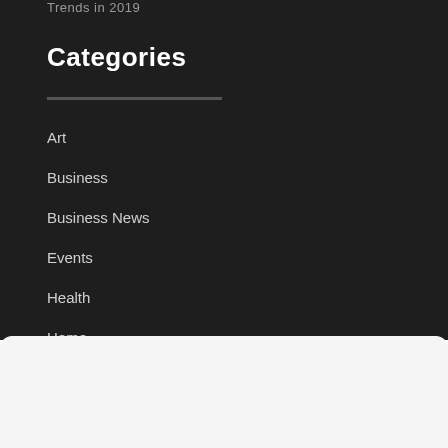Trends in 2019
Categories
Art
Business
Business News
Events
Health
Home
Lifestyle
Medicine
Military
Website doesn't use any cookies. Only base data are collected. Learn more at our Privacy Policy.